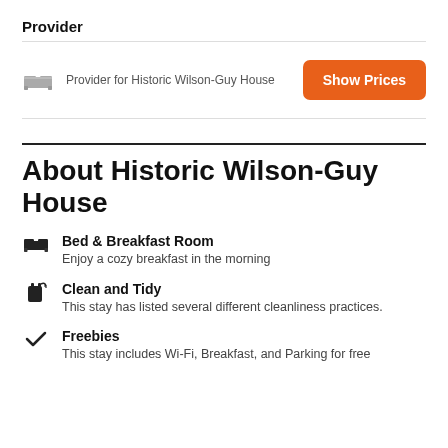Provider
Provider for Historic Wilson-Guy House
Show Prices
About Historic Wilson-Guy House
Bed & Breakfast Room
Enjoy a cozy breakfast in the morning
Clean and Tidy
This stay has listed several different cleanliness practices.
Freebies
This stay includes Wi-Fi, Breakfast, and Parking for free